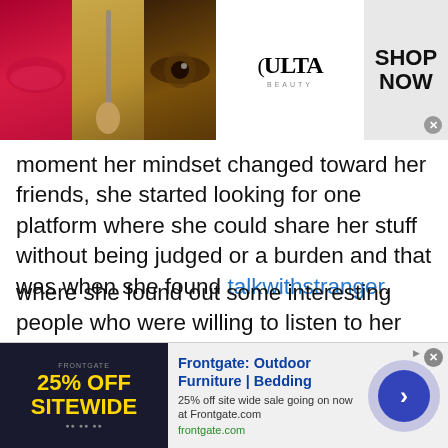[Figure (advertisement): Ulta Beauty banner ad with makeup images (lips, brush, eye), Ulta Beauty logo, and SHOP NOW button with X close icon]
moment her mindset changed toward her friends, she started looking for one platform where she could share her stuff without being judged or a burden and that was when she found talkwithstranger.
where she found out some interesting people who were willing to listen to her and always available within a click Gabonese Phone Chat. TWS online chat rooms that talk with stranger offer are teen chat, girl chat, online live chat, text chat, love chat and many more.It is good to have a friend but there is no point in having such a person who is
[Figure (advertisement): Frontgate Outdoor Furniture and Bedding ad with 25% off sitewide sale. frontgate.com link shown. Navigation arrow button on right.]